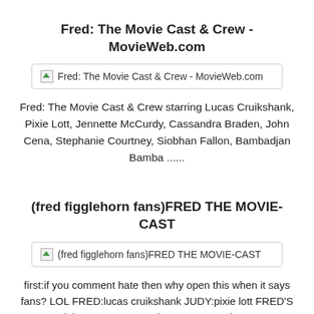Fred: The Movie Cast & Crew - MovieWeb.com
[Figure (screenshot): Broken image placeholder with alt text: Fred: The Movie Cast & Crew - MovieWeb.com]
Fred: The Movie Cast & Crew starring Lucas Cruikshank, Pixie Lott, Jennette McCurdy, Cassandra Braden, John Cena, Stephanie Courtney, Siobhan Fallon, Bambadjan Bamba ......
(fred figglehorn fans)FRED THE MOVIE-CAST
[Figure (screenshot): Broken image placeholder with alt text: (fred figglehorn fans)FRED THE MOVIE-CAST]
first:if you comment hate then why open this when it says fans? LOL FRED:lucas cruikshank JUDY:pixie lott FRED'S DAD:john cena BERTHA:jennette mccurdy MOM...